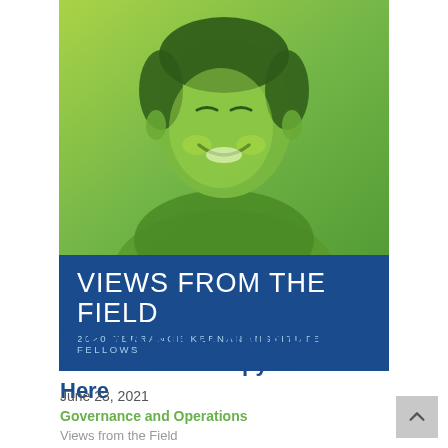[Figure (photo): Portrait photo of an Asian man smiling, rendered with a green/yellow-green duotone color overlay, used as cover image for a report titled 'Views from the Field: 2020 Terrance Keenan Institute Fellows']
VIEWS FROM THE FIELD
2020 TERRANCE KEENAN INSTITUTE FELLOWS
The Moment to Transform Health Philanthropy Is Here
June 23, 2021
Governance and Operations
Views from the Field